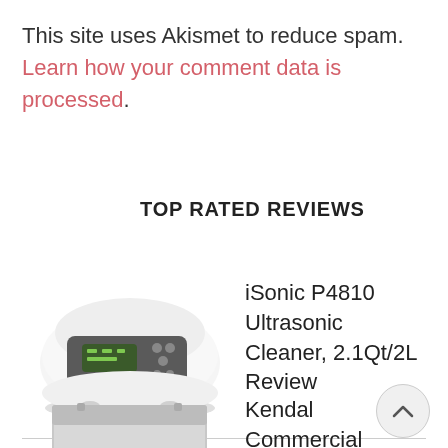This site uses Akismet to reduce spam. Learn how your comment data is processed.
TOP RATED REVIEWS
[Figure (photo): iSonic P4810 Ultrasonic Cleaner product photo - white rounded device with digital display]
iSonic P4810 Ultrasonic Cleaner, 2.1Qt/2L Review
[Figure (photo): Kendal Commercial ultrasonic cleaner product photo - stainless steel rectangular device]
Kendal Commercial